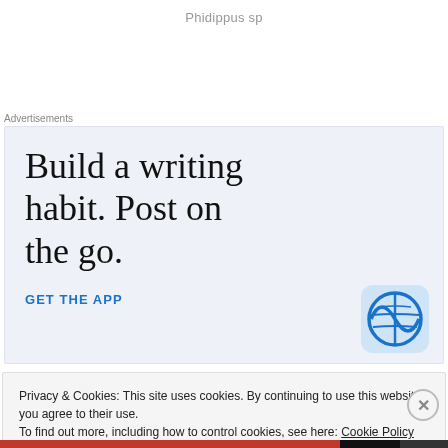Phidippus sp
Advertisements
[Figure (screenshot): Advertisement banner with light blue-grey background showing text 'Build a writing habit. Post on the go.' with a 'GET THE APP' link and WordPress logo icon.]
Privacy & Cookies: This site uses cookies. By continuing to use this website, you agree to their use.
To find out more, including how to control cookies, see here: Cookie Policy
Close and accept